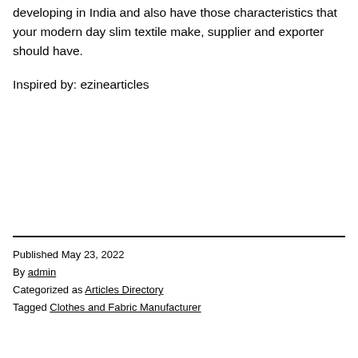developing in India and also have those characteristics that your modern day slim textile make, supplier and exporter should have.
Inspired by: ezinearticles
Published May 23, 2022
By admin
Categorized as Articles Directory
Tagged Clothes and Fabric Manufacturer